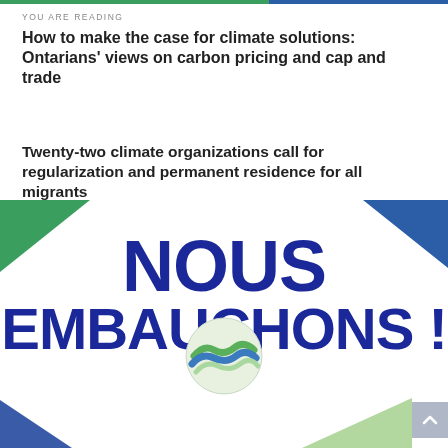YOU ARE READING
How to make the case for climate solutions: Ontarians' views on carbon pricing and cap and trade
Twenty-two climate organizations call for regularization and permanent residence for all migrants
[Figure (illustration): Promotional banner with decorative corner triangles in green and blue, large bold text reading 'NOUS EMBAUCHONS !' in dark blue, and a circular globe logo at the bottom center. A scroll-up button is in the bottom-right corner.]